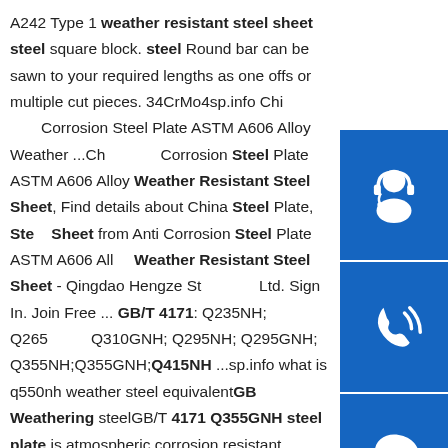A242 Type 1 weather resistant steel sheet steel square block. steel Round bar can be sawn to your required lengths as one offs or multiple cut pieces. 34CrMo4sp.info China Anti Corrosion Steel Plate ASTM A606 Alloy Weather ...China Anti Corrosion Steel Plate ASTM A606 Alloy Weather Resistant Steel Sheet, Find details about China Steel Plate, Steel Sheet from Anti Corrosion Steel Plate ASTM A606 Alloy Weather Resistant Steel Sheet - Qingdao Hengze Steel Co., Ltd. Sign In. Join Free ... GB/T 4171: Q235NH; Q265GNH; Q310GNH; Q295NH; Q295GNH; Q355NH;Q355GNH;Q415NH ...sp.info what is q550nh weather steel equivalentGB Weathering steelGB/T 4171 Q355GNH steel plate is atmospheric corrosion resistant steel,which is a low alloy steel series between ordinary steel plate and stainless steel.GB/T 4171 Q355GNH steel plate is
[Figure (infographic): Three blue icon boxes stacked vertically on the right side: a headset/customer service icon, a phone/call icon, and a Skype icon.]